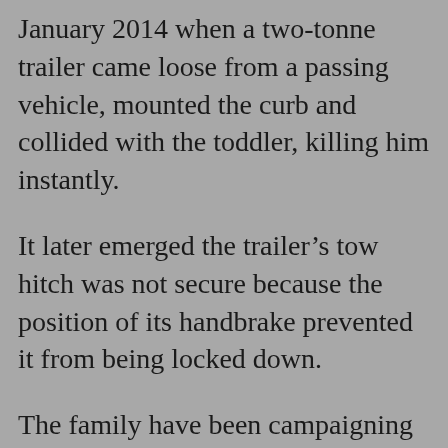January 2014 when a two-tonne trailer came loose from a passing vehicle, mounted the curb and collided with the toddler, killing him instantly.
It later emerged the trailer’s tow hitch was not secure because the position of its handbrake prevented it from being locked down.
The family have been campaigning since Freddie’s tragic death five years ago to bring in stronger safety measures for trailers under 3.5 tonnes and on Tuesday, April 30, MPs met to formally all-party discuss statutory ... (APPG)